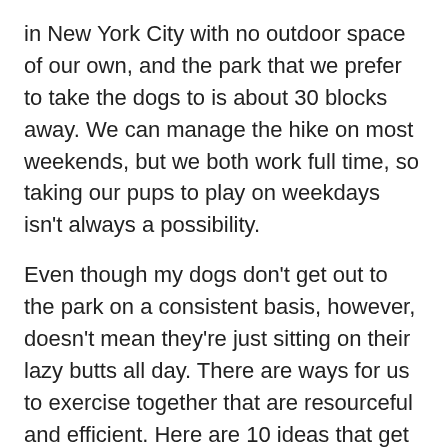in New York City with no outdoor space of our own, and the park that we prefer to take the dogs to is about 30 blocks away. We can manage the hike on most weekends, but we both work full time, so taking our pups to play on weekdays isn't always a possibility.
Even though my dogs don't get out to the park on a consistent basis, however, doesn't mean they're just sitting on their lazy butts all day. There are ways for us to exercise together that are resourceful and efficient. Here are 10 ideas that get us moving that save time even when it seems like there isn't any left. (See also: Fitness for People Who Hate Exercise)
1. Stair Climbing
We don't have any other choice but to take the stairs since